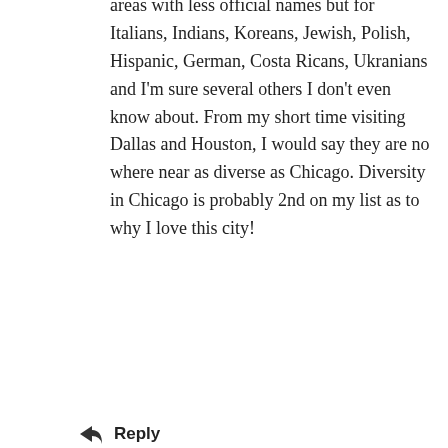areas with less official names but for Italians, Indians, Koreans, Jewish, Polish, Hispanic, German, Costa Ricans, Ukranians and I'm sure several others I don't even know about. From my short time visiting Dallas and Houston, I would say they are no where near as diverse as Chicago. Diversity in Chicago is probably 2nd on my list as to why I love this city!
↩ Reply
[Figure (photo): Avatar photo of commenter Bert, grayscale portrait of a person wearing glasses]
Bert
JANUARY 14, 2013 AT 6:53 PM
Hi Christina,
Thanks for the reminder about the wealth of cultures that can be found in large established cities like Chicago. Other cities with a rich